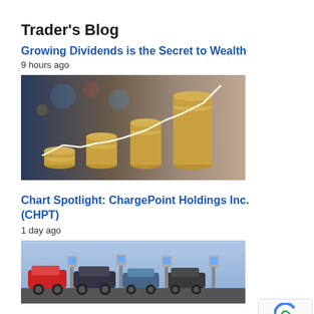Trader's Blog
Growing Dividends is the Secret to Wealth
9 hours ago
[Figure (photo): Stacks of coins growing in height from left to right with an upward trending white line graph overlaid, blurred city background]
Chart Spotlight: ChargePoint Holdings Inc. (CHPT)
1 day ago
[Figure (photo): Electric vehicles at charging stations in a parking lot]